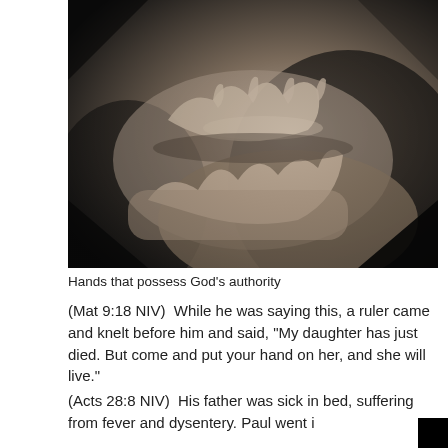[Figure (photo): Black and white / sepia-toned close-up photograph of hands touching, one hand resting on top of another against a dark background, suggestive of healing or comfort.]
Hands that possess God’s authority
(Mat 9:18 NIV)  While he was saying this, a ruler came and knelt before him and said, “My daughter has just died. But come and put your hand on her, and she will live.”
(Acts 28:8 NIV)  His father was sick in bed, suffering from fever and dysentery. Paul went i